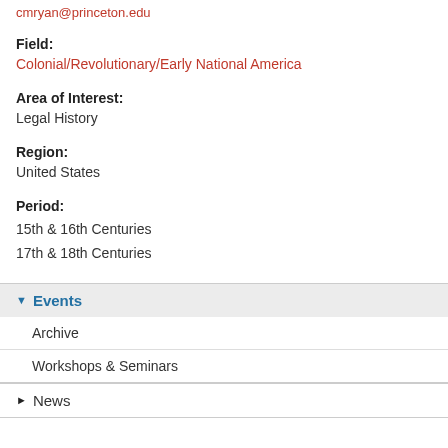cmryan@princeton.edu
Field:
Colonial/Revolutionary/Early National America
Area of Interest:
Legal History
Region:
United States
Period:
15th & 16th Centuries
17th & 18th Centuries
Events
Archive
Workshops & Seminars
News